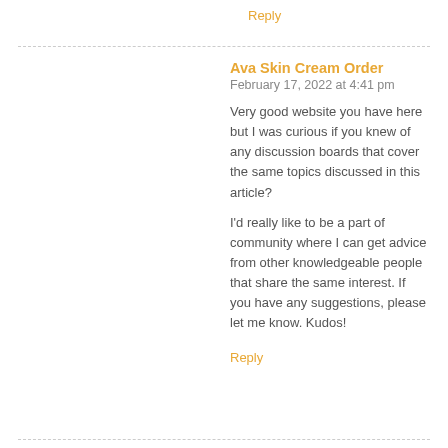Reply
Ava Skin Cream Order
February 17, 2022 at 4:41 pm
Very good website you have here but I was curious if you knew of any discussion boards that cover the same topics discussed in this article?
I'd really like to be a part of community where I can get advice from other knowledgeable people that share the same interest. If you have any suggestions, please let me know. Kudos!
Reply